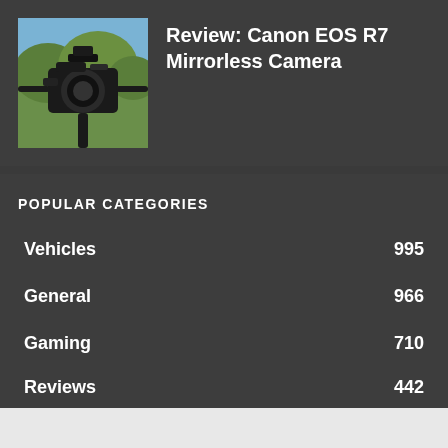[Figure (photo): Photo of a Canon EOS R7 mirrorless camera on a rig/gimbal outdoors with trees in background]
Review: Canon EOS R7 Mirrorless Camera
POPULAR CATEGORIES
Vehicles 995
General 966
Gaming 710
Reviews 442